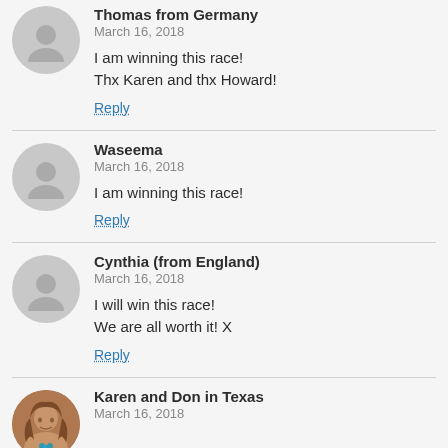Thomas from Germany
March 16, 2018
I am winning this race!
Thx Karen and thx Howard!
Reply
Waseema
March 16, 2018
I am winning this race!
Reply
Cynthia (from England)
March 16, 2018
I will win this race!
We are all worth it! X
Reply
Karen and Don in Texas
March 16, 2018